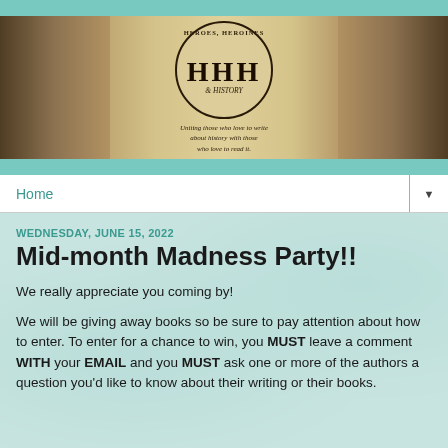[Figure (illustration): Heroes, Heroines & History blog banner with circular HHH emblem, historical artwork on left and right sides, teal borders top and bottom. Subtitle reads: Uniting those who love to write about history with those who love to read it.]
Home ▼
WEDNESDAY, JUNE 15, 2022
Mid-month Madness Party!!
We really appreciate you coming by!
We will be giving away books so be sure to pay attention about how to enter. To enter for a chance to win, you MUST leave a comment WITH your EMAIL and you MUST ask one or more of the authors a question you'd like to know about their writing or their books.